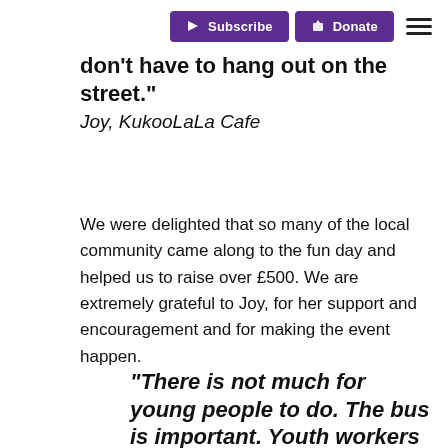Subscribe | Donate
don't have to hang out on the street."
Joy, KukooLaLa Cafe
We were delighted that so many of the local community came along to the fun day and helped us to raise over £500. We are extremely grateful to Joy, for her support and encouragement and for making the event happen.
"There is not much for young people to do. The bus is important. Youth workers help young people with issues and